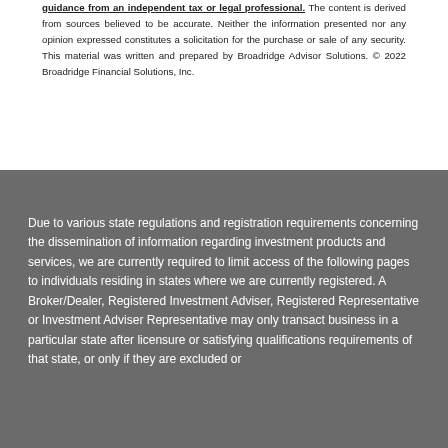guidance from an independent tax or legal professional. The content is derived from sources believed to be accurate. Neither the information presented nor any opinion expressed constitutes a solicitation for the purchase or sale of any security. This material was written and prepared by Broadridge Advisor Solutions. © 2022 Broadridge Financial Solutions, Inc.
Due to various state regulations and registration requirements concerning the dissemination of information regarding investment products and services, we are currently required to limit access of the following pages to individuals residing in states where we are currently registered. A Broker/Dealer, Registered Investment Adviser, Registered Representative or Investment Adviser Representative may only transact business in a particular state after licensure or satisfying qualifications requirements of that state, or only if they are excluded or